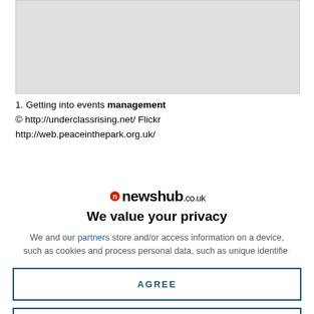[Figure (photo): Gray placeholder image area at the top of the page]
1. Getting into events management
© http://underclassrising.net/ Flickr
http://web.peaceinthepark.org.uk/
[Figure (logo): newshub.co.uk logo with a red circular icon]
We value your privacy
We and our partners store and/or access information on a device, such as cookies and process personal data, such as unique identifiers...
AGREE
MORE OPTIONS